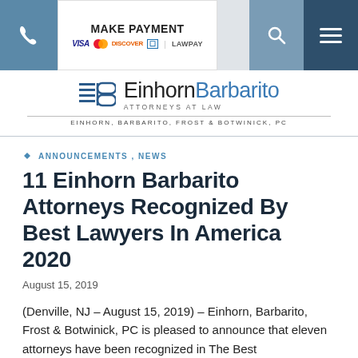[Figure (screenshot): Navigation bar with phone icon, MAKE PAYMENT section with card logos (VISA, Mastercard, Discover, Amex, LawPay), search icon, and hamburger menu]
[Figure (logo): Einhorn Barbarito Attorneys at Law logo with stylized EB monogram, firm name EINHORN, BARBARITO, FROST & BOTWINICK, PC]
ANNOUNCEMENTS , NEWS
11 Einhorn Barbarito Attorneys Recognized By Best Lawyers In America 2020
August 15, 2019
(Denville, NJ – August 15, 2019) – Einhorn, Barbarito, Frost & Botwinick, PC is pleased to announce that eleven attorneys have been recognized in The Best